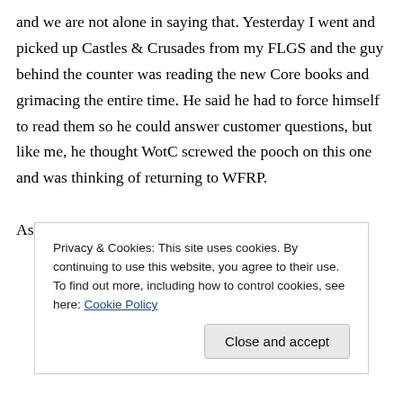and we are not alone in saying that. Yesterday I went and picked up Castles & Crusades from my FLGS and the guy behind the counter was reading the new Core books and grimacing the entire time. He said he had to force himself to read them so he could answer customer questions, but like me, he thought WotC screwed the pooch on this one and was thinking of returning to WFRP.

As for Castles & Crusades, I think I've finally
Privacy & Cookies: This site uses cookies. By continuing to use this website, you agree to their use.
To find out more, including how to control cookies, see here: Cookie Policy
Close and accept